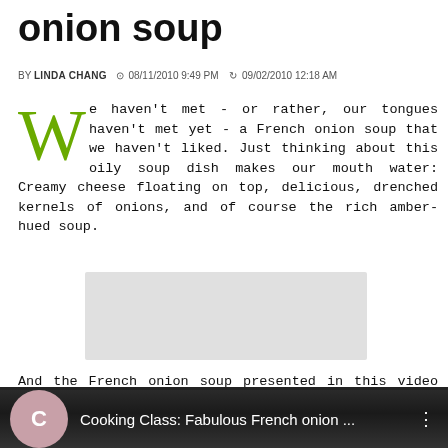onion soup
BY LINDA CHANG  08/11/2010 9:49 PM  09/02/2010 12:18 AM
We haven't met - or rather, our tongues haven't met yet - a French onion soup that we haven't liked. Just thinking about this oily soup dish makes our mouth water: Creamy cheese floating on top, delicious, drenched kernels of onions, and of course the rich amber-hued soup.
[Figure (photo): Light gray placeholder rectangle for an image or video embed]
And the French onion soup presented in this video promises to be just as delicious. Check out the tutorial to learn how to create the perfect broth by carmelizing the onions.
[Figure (screenshot): Dark video player bar showing 'Cooking Class: Fabulous French onion ...' with a circular C icon on the left and a three-dot menu on the right]